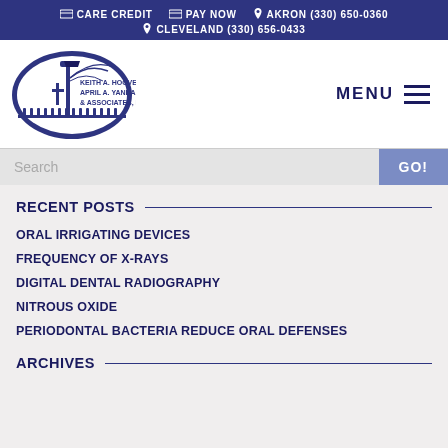CARE CREDIT   PAY NOW   AKRON (330) 650-0360   CLEVELAND (330) 656-0433
[Figure (logo): Keith A. Hoover, April A. Yanda & Associates, Inc. dental practice logo — oval blue emblem with lamp post and cross]
MENU
Search   GO!
RECENT POSTS
ORAL IRRIGATING DEVICES
FREQUENCY OF X-RAYS
DIGITAL DENTAL RADIOGRAPHY
NITROUS OXIDE
PERIODONTAL BACTERIA REDUCE ORAL DEFENSES
ARCHIVES